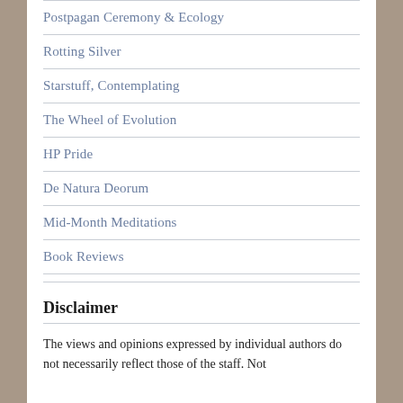Postpagan Ceremony & Ecology
Rotting Silver
Starstuff, Contemplating
The Wheel of Evolution
HP Pride
De Natura Deorum
Mid-Month Meditations
Book Reviews
Disclaimer
The views and opinions expressed by individual authors do not necessarily reflect those of the staff. Not